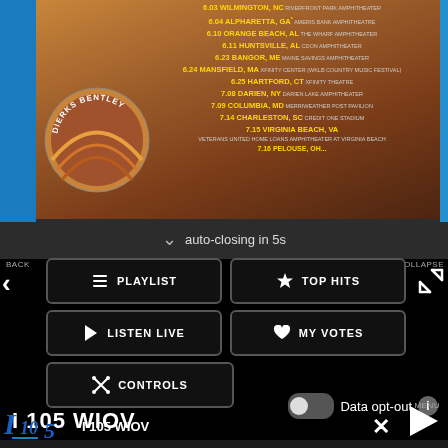[Figure (screenshot): Dierks Bentley tour dates promotional image with concert venue listings on brown/orange textured background, with circular artist logo on left and blue side bars]
auto-closing in 5s
BACK
COLLAPSE
PLAYLIST
TOP HITS
LISTEN LIVE
MY VOTES
CONTROLS
Data opt-out
I 105 WIOV
I 105 WIOV
MENU